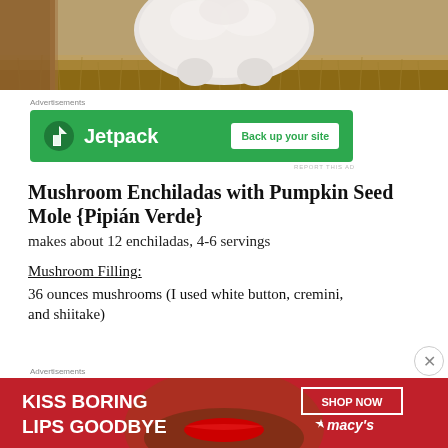[Figure (photo): Top portion of a white fluffy dog or cat on a tan/brown carpet, partially cropped at top]
Advertisements
[Figure (other): Jetpack advertisement banner with green background, Jetpack logo and 'Back up your site' button]
REPORT THIS AD
Mushroom Enchiladas with Pumpkin Seed Mole {Pipián Verde}
makes about 12 enchiladas, 4-6 servings
Mushroom Filling:
36 ounces mushrooms (I used white button, cremini, and shiitake)
Advertisements
[Figure (other): Macy's advertisement with red background, woman's face with red lipstick, text 'KISS BORING LIPS GOODBYE', 'SHOP NOW' button and Macy's star logo]